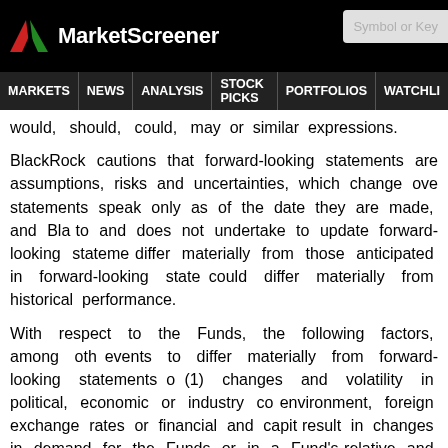MarketScreener | MARKETS | NEWS | ANALYSIS | STOCK PICKS | PORTFOLIOS | WATCHLI...
would, should, could, may or similar expressions.
BlackRock cautions that forward-looking statements are assumptions, risks and uncertainties, which change ove statements speak only as of the date they are made, and Bla to and does not undertake to update forward-looking stateme differ materially from those anticipated in forward-looking state could differ materially from historical performance.
With respect to the Funds, the following factors, among oth events to differ materially from forward-looking statements o (1) changes and volatility in political, economic or industry co environment, foreign exchange rates or financial and capit result in changes in demand for the Funds or in a Fund's relative and absolute investment performance of a Fund anc